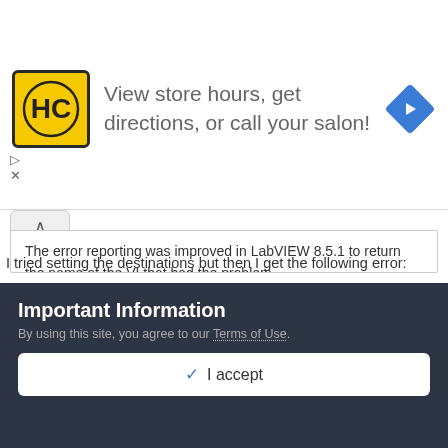[Figure (logo): HC salon logo with yellow background and navigation arrow ad banner reading 'View store hours, get directions, or call your salon!']
The error reporting was improved in LabVIEW 8.5.1 to return the name of the VI that had the problem.
To avoid the auto rename, what you should do is in the Source File Settings page, manually set the destination of files that appear in the warning message to the "data" directory. By doing this, the auto rename does not run on the files.
I tried setting the destinations but then I get the following error:
Important Information
By using this site, you agree to our Terms of Use.
✓ I accept